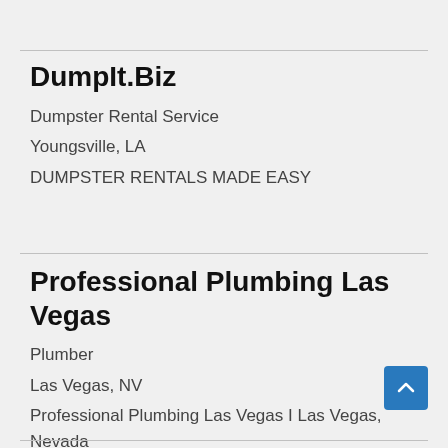DumpIt.Biz
Dumpster Rental Service
Youngsville, LA
DUMPSTER RENTALS MADE EASY
Professional Plumbing Las Vegas
Plumber
Las Vegas, NV
Professional Plumbing Las Vegas I Las Vegas, Nevada